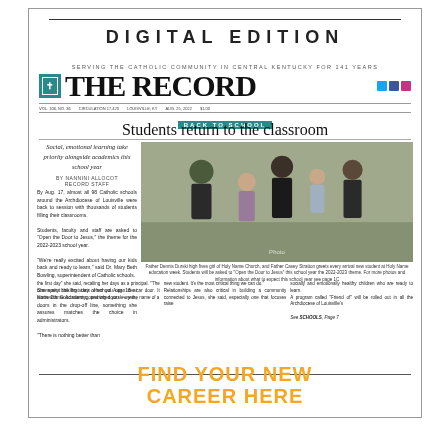DIGITAL EDITION
SERVING THE CATHOLIC COMMUNITY IN CENTRAL KENTUCKY FOR 141 YEARS
[Figure (logo): The Record newspaper nameplate with teal cross logo and large serif title THE RECORD, with social media icons]
BACK TO SCHOOL
Students return to the classroom
Social, emotional learning take priority alongside academics this school year
By NANNINI ALLOCOT
Record Staff
By Aug. 17, almost all 98 Catholic schools around the Archdiocese of Louisville were back to session with thousands of students filling their classrooms. Students, faculty and staff are asked to "Open the Door to Jesus" the theme for the 2022-2023 school year. "We're really excited about having our kids back and ready to learn," said Dr. Mary Beth Bowling, superintendent of Catholic schools.
[Figure (photo): Father Dennis Durski high fives a girl, Father Casey Stratton greets students at Holy Name education week and students will be asked to Open the Door to Jesus this school year]
Father Dennis Durski high fives girl of Holy Name Church, and Father Casey Stratton greets every arrival new student at Holy Name education week. Students will be asked to "Open the Door to Jesus" this school year the 2022-2023 theme. For more photos and information about what to expect this school year see page 1C
She spent the first day of school Aug. 16 at Notre Dame Academy, opening doors — yes, doors in the drop-off line, something she assures matches the choice in administrators. "There is nothing better than the first day" she said, recalling her days as a principal. "The community building starts when you open the car door. It starts with. Good morning, and when you know the name of a new student. It's the most critical thing we can do." Relationships are also critical in building a community connected to Jesus, she said, especially one that focuses raise socially and emotionally healthy children who are ready to learn. A program called "Friend of" will be rolled out in all the Archdiocese of Louisville's
See SCHOOLS, Page 7
FIND YOUR NEW CAREER HERE